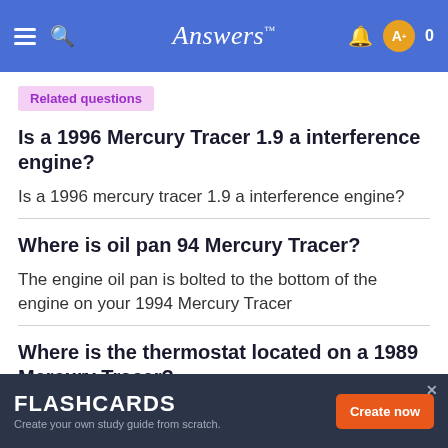Answers
Related questions
Is a 1996 Mercury Tracer 1.9 a interference engine?
Is a 1996 mercury tracer 1.9 a interference engine?
Where is oil pan 94 Mercury Tracer?
The engine oil pan is bolted to the bottom of the engine on your 1994 Mercury Tracer
Where is the thermostat located on a 1989 Mercury Tracer?
It is in a housing on the engine end of the upper rad hose. When replacing it make sure the spring is toward th...
FLASHCARDS Create your own study guide from scratch. Create now